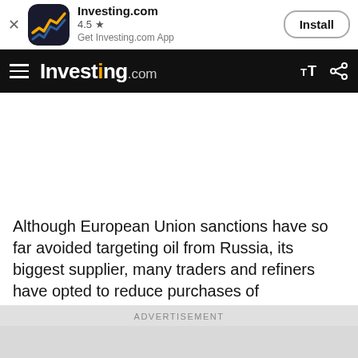[Figure (screenshot): Investing.com app banner with icon, 4.5 star rating, Get Investing.com App text, and Install button]
Investing.com
Although European Union sanctions have so far avoided targeting oil from Russia, its biggest supplier, many traders and refiners have opted to reduce purchases of
ADVERTISEMENT